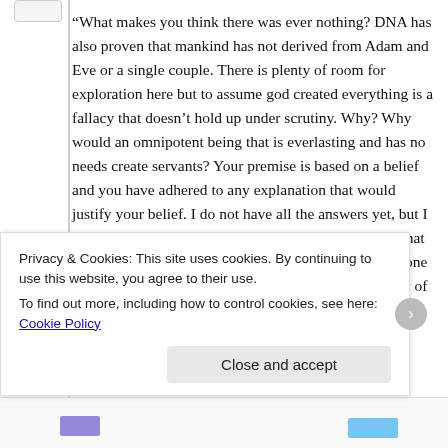“What makes you think there was ever nothing? DNA has also proven that mankind has not derived from Adam and Eve or a single couple. There is plenty of room for exploration here but to assume god created everything is a fallacy that doesn’t hold up under scrutiny. Why? Why would an omnipotent being that is everlasting and has no needs create servants? Your premise is based on a belief and you have adhered to any explanation that would justify your belief. I do not have all the answers yet, but I am not willing to throw in with supernatural guesses that make me look silly. Your explanation to assume someone created the genetic code is just a theory, there is plenty of precedent to show there is an
Privacy & Cookies: This site uses cookies. By continuing to use this website, you agree to their use.
To find out more, including how to control cookies, see here: Cookie Policy